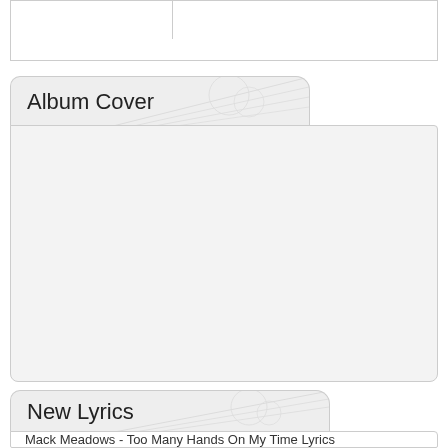|  |
Album Cover
[Figure (other): Empty album cover placeholder area with light gray background inside a tabbed panel]
New Lyrics
Mack Meadows - Too Many Hands On My Time Lyrics